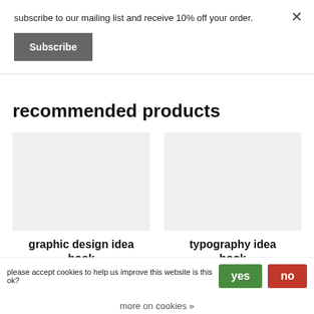subscribe to our mailing list and receive 10% off your order.
Subscribe
recommended products
[Figure (photo): Placeholder image for graphic design idea book]
graphic design idea book
broken into sections
[Figure (photo): Placeholder image for typography idea book]
typography idea book
this book serves as an
please accept cookies to help us improve this website is this ok?
yes
no
more on cookies »